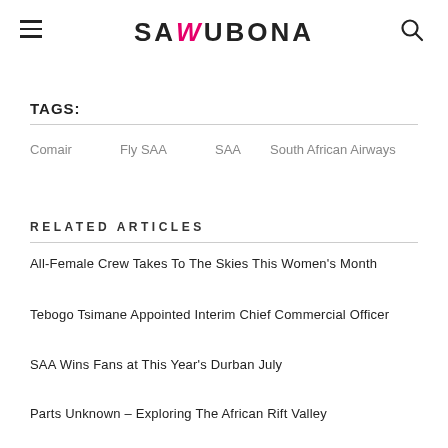SAWUBONA
TAGS:
Comair
Fly SAA
SAA
South African Airways
RELATED ARTICLES
All-Female Crew Takes To The Skies This Women's Month
Tebogo Tsimane Appointed Interim Chief Commercial Officer
SAA Wins Fans at This Year's Durban July
Parts Unknown – Exploring The African Rift Valley